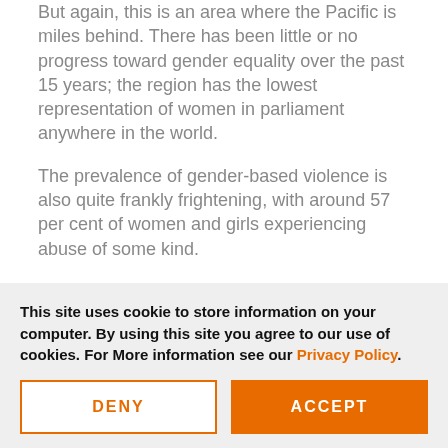But again, this is an area where the Pacific is miles behind. There has been little or no progress toward gender equality over the past 15 years; the region has the lowest representation of women in parliament anywhere in the world.
The prevalence of gender-based violence is also quite frankly frightening, with around 57 per cent of women and girls experiencing abuse of some kind.
This is not to say that progress is impossible or the Pacific is some kind of 'basket-case'. Quite the opposite. As a community-based NGO, World Vision knows that equipping people with the knowledge and tools to help themselves is
This site uses cookie to store information on your computer. By using this site you agree to our use of cookies. For More information see our Privacy Policy.